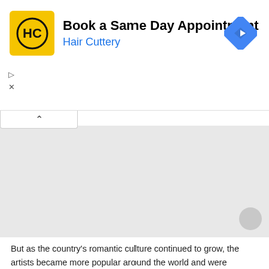[Figure (screenshot): Hair Cuttery advertisement banner: yellow square logo with HC monogram, text 'Book a Same Day Appointment' in bold black, 'Hair Cuttery' in blue, blue diamond navigation icon on the right, ad controls (play and close icons) on the left below the logo]
[Figure (screenshot): Gray collapsed/folded content area with a white collapse tab showing an up-arrow (^) at top left, and a circular gray scroll button in bottom right corner]
But as the country’s romantic culture continued to grow, the artists became more popular around the world and were considered fashion geniuses, with their creativity being expressed through their minimalistic lifestyle. Today, the Bohemian style has become the way to define individuality.